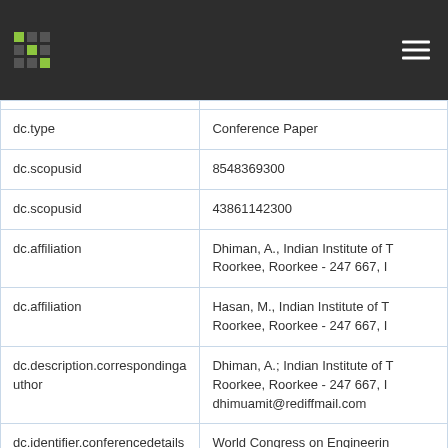| Field | Value |
| --- | --- |
| dc.type | Conference Paper |
| dc.scopusid | 8548369300 |
| dc.scopusid | 43861142300 |
| dc.affiliation | Dhiman, A., Indian Institute of Technology Roorkee, Roorkee - 247 667, I |
| dc.affiliation | Hasan, M., Indian Institute of Technology Roorkee, Roorkee - 247 667, I |
| dc.description.correspondingauthor | Dhiman, A.; Indian Institute of Technology Roorkee, Roorkee - 247 667, I; dhimuamit@rediffmail.com |
| dc.identifier.conferencedetails | World Congress on Engineering 2010, London, 30 Jun-2 July 2 |
| Appears in Collections: | Conference Publications [CH] |